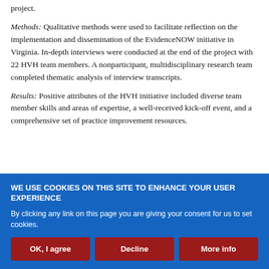project.
Methods: Qualitative methods were used to facilitate reflection on the implementation and dissemination of the EvidenceNOW initiative in Virginia. In-depth interviews were conducted at the end of the project with 22 HVH team members. A nonparticipant, multidisciplinary research team completed thematic analysis of interview transcripts.
Results: Positive attributes of the HVH initiative included diverse team member skills and areas of expertise, a well-received kick-off event, and a comprehensive set of practice improvement resources.
WE USE COOKIES ON THIS SITE TO ENHANCE YOUR USER EXPERIENCE
By clicking any link on this page you are giving your consent for us to set cookies.
OK, I agree | Decline | More info